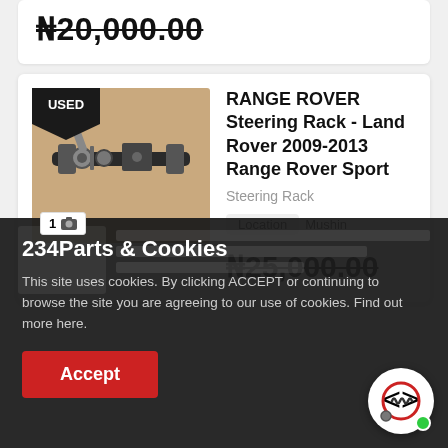₦20,000.00
[Figure (photo): Steering rack part photo for Range Rover with USED badge]
RANGE ROVER Steering Rack - Land Rover 2009-2013 Range Rover Sport
Steering Rack
Location  Mushin
₦25,000.00
234Parts & Cookies
This site uses cookies. By clicking ACCEPT or continuing to browse the site you are agreeing to our use of cookies. Find out more here.
Accept